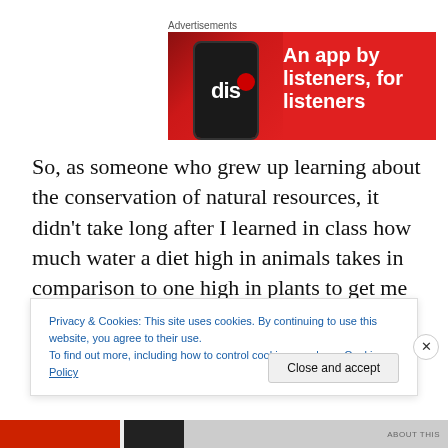Advertisements
[Figure (illustration): Red advertisement banner for a podcast/music app showing a smartphone with 'diss' text on screen and white bold text reading 'An app by listeners, for listeners']
So, as someone who grew up learning about the conservation of natural resources, it didn't take long after I learned in class how much water a diet high in animals takes in comparison to one high in plants to get me
Privacy & Cookies: This site uses cookies. By continuing to use this website, you agree to their use.
To find out more, including how to control cookies, see here: Cookie Policy
Close and accept